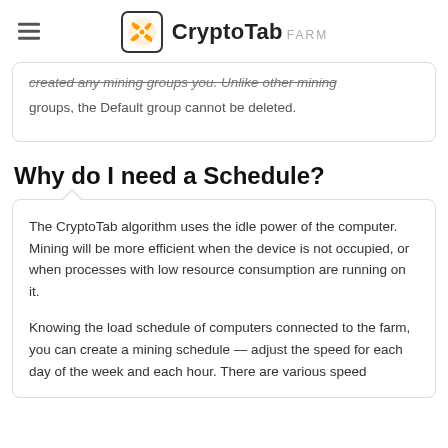CryptoTab FARM
created any mining groups you. Unlike other mining groups, the Default group cannot be deleted.
Why do I need a Schedule?
The CryptoTab algorithm uses the idle power of the computer. Mining will be more efficient when the device is not occupied, or when processes with low resource consumption are running on it.

Knowing the load schedule of computers connected to the farm, you can create a mining schedule — adjust the speed for each day of the week and each hour. There are various speed